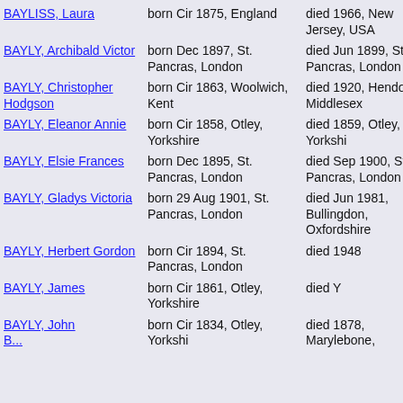| Name | Birth | Death |
| --- | --- | --- |
| BAYLISS, Laura | born Cir 1875, England | died 1966, New Jersey, USA |
| BAYLY, Archibald Victor | born Dec 1897, St. Pancras, London | died Jun 1899, St. Pancras, London |
| BAYLY, Christopher Hodgson | born Cir 1863, Woolwich, Kent | died 1920, Hendon, Middlesex |
| BAYLY, Eleanor Annie | born Cir 1858, Otley, Yorkshire | died 1859, Otley, Yorkshire |
| BAYLY, Elsie Frances | born Dec 1895, St. Pancras, London | died Sep 1900, St. Pancras, London |
| BAYLY, Gladys Victoria | born 29 Aug 1901, St. Pancras, London | died Jun 1981, Bullingdon, Oxfordshire |
| BAYLY, Herbert Gordon | born Cir 1894, St. Pancras, London | died 1948 |
| BAYLY, James | born Cir 1861, Otley, Yorkshire | died Y |
| BAYLY, John ... | born Cir 1834, Otley, Yorkshire | died 1878, Marylebone, |